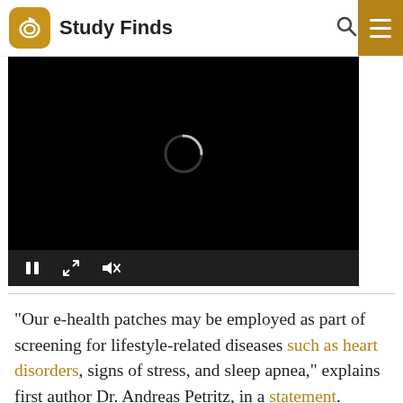Study Finds
[Figure (screenshot): Embedded video player showing a black screen with a loading spinner and playback controls (pause, expand, mute)]
“Our e-health patches may be employed as part of screening for lifestyle-related diseases such as heart disorders, signs of stress, and sleep apnea,” explains first author Dr. Andreas Petritz, in a statement.